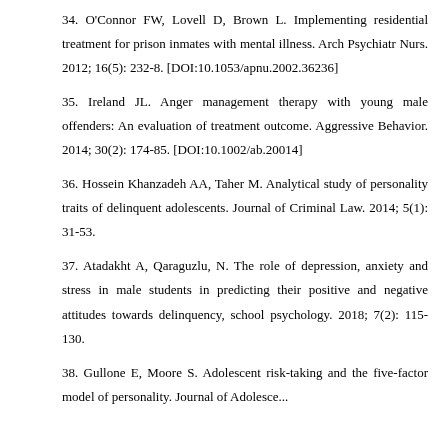34. O'Connor FW, Lovell D, Brown L. Implementing residential treatment for prison inmates with mental illness. Arch Psychiatr Nurs. 2012; 16(5): 232-8. [DOI:10.1053/apnu.2002.36236]
35. Ireland JL. Anger management therapy with young male offenders: An evaluation of treatment outcome. Aggressive Behavior. 2014; 30(2): 174-85. [DOI:10.1002/ab.20014]
36. Hossein Khanzadeh AA, Taher M. Analytical study of personality traits of delinquent adolescents. Journal of Criminal Law. 2014; 5(1): 31-53.
37. Atadakht A, Qaraguzlu, N. The role of depression, anxiety and stress in male students in predicting their positive and negative attitudes towards delinquency, school psychology. 2018; 7(2): 115-130.
38. Gullone E, Moore S. Adolescent risk-taking and the five-factor model of personality. Journal of Adolescence. 2000; 23…